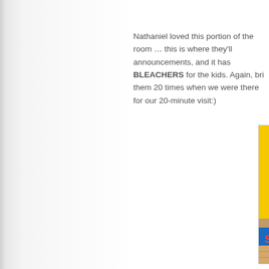Nathaniel loved this portion of the room … this is where they'll announcements, and it has BLEACHERS for the kids. Again, bri them 20 times when we were there for our 20-minute visit:)
[Figure (photo): Elementary school classroom showing shelving units with supplies, colorful alphabet/animal rug on the floor, blue bulletin board with charts on the wall, and a step stool. The room appears to be a kindergarten or early elementary classroom.]